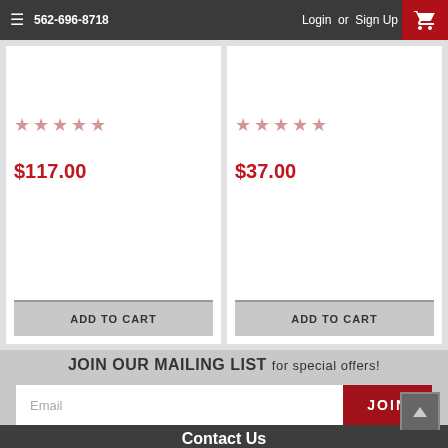562-696-8718  Login or Sign Up
★★★★★ (empty stars rating)
$117.00
ADD TO CART
★★★★★ (empty stars rating)
$37.00
ADD TO CART
[Figure (infographic): WARNING: Cancer and Reproductive Harm - www.P65Warnings.ca.gov label with yellow triangle warning symbol]
JOIN OUR MAILING LIST for special offers!
Email
JOIN
Contact Us
Rasmussen Gas Logs & Grills